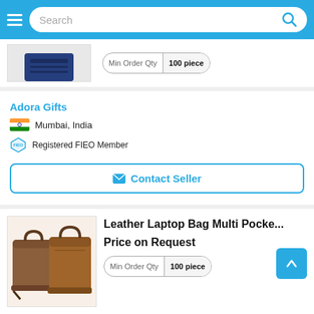Search bar with hamburger menu
Min Order Qty | 100 piece
Adora Gifts
Mumbai, India
Registered FIEO Member
Contact Seller
Leather Laptop Bag Multi Pocke...
Price on Request
Min Order Qty | 100 piece
Adora Gifts
Mumbai, India